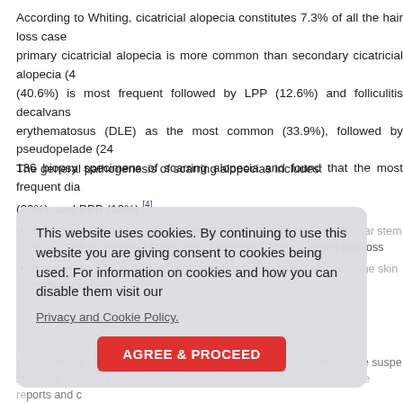According to Whiting, cicatricial alopecia constitutes 7.3% of all the hair loss cases; primary cicatricial alopecia is more common than secondary cicatricial alopecia (41%) (40.6%) is most frequent followed by LPP (12.6%) and folliculitis decalvans erythematosus (DLE) as the most common (33.9%), followed by pseudopelade (24%) 136 biopsy specimens of scarring alopecia and found that the most frequent dia (20%), and PPB (10%).[4]
The general pathogenesis of scarring alopecias includes:
Stem cell failure: The bulge region of the hair follicle houses follicular stem damage to the bulge region may cause permanent scarring hair loss
degenerate. This regeneration is required for the hair shaft to exit the skin in this process.
Pathogenesis of PPB is not completely understood as yet. Some of the suspected infection, and senescence of the follicular stem cell reservoir. Few case reports and c factors may be important in its pathogenesis.[5]